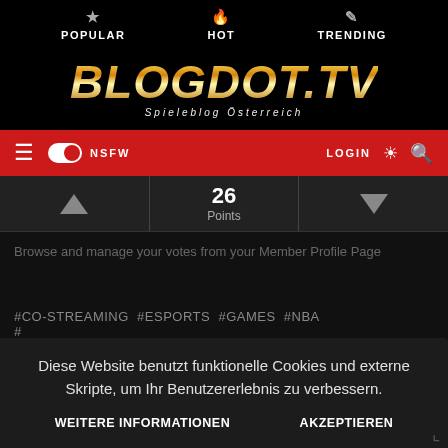POPULAR  HOT  TRENDING
[Figure (logo): BLOGDOT.TV logo with gold gradient text and subtitle 'Spieleblog Österreich']
≡  NSFW toggle  LOGIN
26 Points (upvote/downvote controls)
Browse and manage your votes from your Member Profile Page
#CO-STREAMING #ESPORTS #GAMES #NBA #
Diese Website benutzt funktionelle Cookies und externe Skripte, um Ihr Benutzererlebnis zu verbessern. WEITERE INFORMATIONEN  AKZEPTIEREN